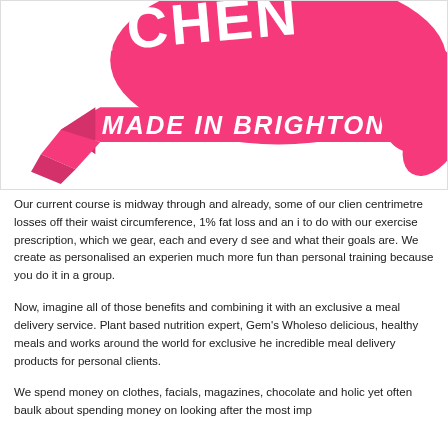[Figure (logo): Pink brand logo with stylized text 'KITCHEN' and banner reading 'MADE IN BRIGHTON' on a white background with ribbon/wing design elements in coral/hot pink]
Our current course is midway through and already, some of our clients are seeing centimetre losses off their waist circumference, 1% fat loss and an increase in strength to do with our exercise prescription, which we gear, each and every client from what we see and what their goals are. We create as personalised an experience as possible, but much more fun than personal training because you do it in a group.
Now, imagine all of those benefits and combining it with an exclusive partnership with a meal delivery service. Plant based nutrition expert, Gem's Wholesome Kitchen creates delicious, healthy meals and works around the world for exclusive health retreats and incredible meal delivery products for personal clients.
We spend money on clothes, facials, magazines, chocolate and holidays yet often baulk about spending money on looking after the most imp...